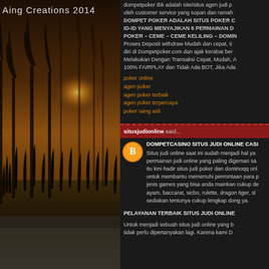[Figure (illustration): Dark atmospheric forest/marsh scene with warm amber sunset glow, silhouette of trees and tall grass against golden sky]
Aing Creations 2014
dompetpoker tbk adalah site/situs agen judi p... oleh customer service yang sopan dan ramah... DOMPET POKER ADALAH SITUS POKER C... ID-ID YANG MENYAJIKAN 6 PERMAINAN DA... POKER – CEME – CEME KELILING – DOMIN... Proses Deposit withdraw Mudah dan cepat, ti... diri di Dompetpoker.com dan ajak kerabat ber... Melakukan Dengan Transaksi Cepat, Mudah, A... 100% FAIRPLAY dan Tidak Ada BOT, Jika Ada...
poker online
agen poker
agen poker terbaik
agen poker terpercaya
poker uang asli
situsjudionline said...
DOMPETCASINO SITUS JUDI ONLINE CASI...
Situs judi online saat ini sudah menjadi hal ya... permainan judi online yang paling digemari sa... itu kini hadir situs judi poker dan dominoqq onl... untuk membantu memenuhi permintaan para p... jenis games yang bisa anda mainkan cukup de... ayam, baccarat, sicbo, rulette, dragon tiger, sl... sediakan tentunya cukup lengkap dong ya.
PELAYANAN TERBAIK SITUS JUDI ONLINE...
Untuk menjadi sebuah situs judi online yang b... tidak perlu dipertanyakan lagi. Karena kami D...